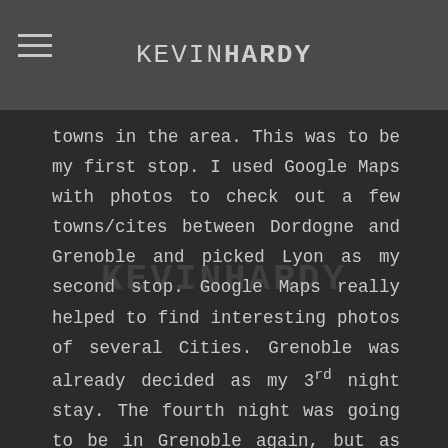KEVIN HARDY
towns in the area. This was to be my first stop. I used Google Maps with photos to check out a few towns/cites between Dordogne and Grenoble and picked Lyon as my second stop. Google Maps really helped to find interesting photos of several Cities. Grenoble was already decided as my 3rd night stay. The fourth night was going to be in Grenoble again, but as my route became a little more organized, I picked Annecy as a stop. I really wanted to visit this town, so I was glad I was able to switch it. The last stay before Paris was to be in Beaune. I wanted to